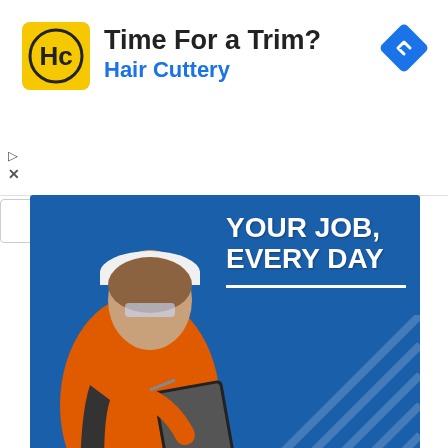[Figure (screenshot): Hair Cuttery advertisement banner with yellow logo showing 'HC', headline 'Time For a Trim?', blue subtitle 'Hair Cuttery', and a blue diamond navigation icon in the top right. Small play and X icons on the left edge.]
[Figure (screenshot): HCSS construction software advertisement. Shows a worker in orange safety vest using a tablet, with blue background and text 'YOUR JOB, EVERY DAY'. Below is HCSS logo bar with tagline 'Innovative Software for the Construction Industry' and a 'Learn More' button. A sponsored bar shows 'Sponsored by hcss.com' and an 'Open' button.]
This whole process is quite fast, and can be completed in under a minute as demonstrated in the video walkthrough below: